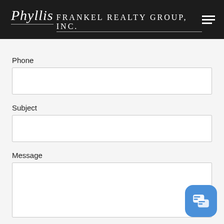Phyllis Frankel Realty Group, Inc.
Phone
Subject
Message
[Figure (screenshot): Blue chat button icon in bottom right corner]